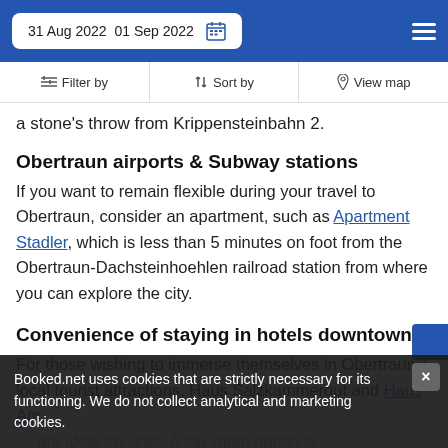31 Aug 2022  01 Sep 2022
Filter by  |  Sort by  |  View map
a stone's throw from Krippensteinbahn 2.
Obertraun airports & Subway stations
If you want to remain flexible during your travel to Obertraun, consider an apartment, such as Apartment Stadler, which is less than 5 minutes on foot from the Obertraun-Dachsteinhoehlen railroad station from where you can explore the city.
Convenience of staying in hotels downtown
For those wishing to immerse themselves in Obertraun's local tourist attractions, Haus Salzkammergut and Haus Am ... are ideal choices. A top-rated option is Pension Hotel Obertraun...
Booked.net uses cookies that are strictly necessary for its functioning. We do not collect analytical and marketing cookies.